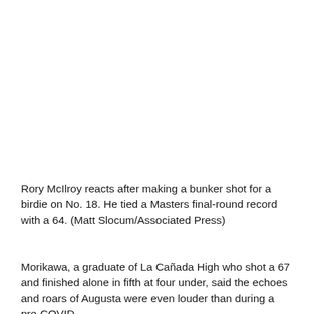Rory McIlroy reacts after making a bunker shot for a birdie on No. 18. He tied a Masters final-round record with a 64. (Matt Slocum/Associated Press)
Morikawa, a graduate of La Cañada High who shot a 67 and finished alone in fifth at four under, said the echoes and roars of Augusta were even louder than during a pre-COVID